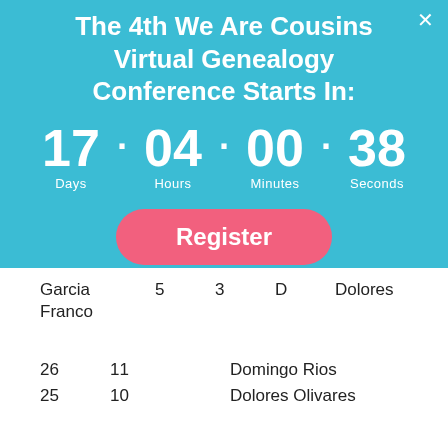The 4th We Are Cousins Virtual Genealogy Conference Starts In:
[Figure (infographic): Countdown timer showing 17 Days · 04 Hours · 00 Minutes · 38 Seconds]
[Figure (other): Register button (pink/salmon rounded button)]
| Garcia | 5 | 3 | D | Dolores |
| Franco |  |  |  |  |
|  |  |  |  |  |
| 26 | 11 |  | Domingo Rios |  |
| 25 | 10 |  | Dolores Olivares |  |